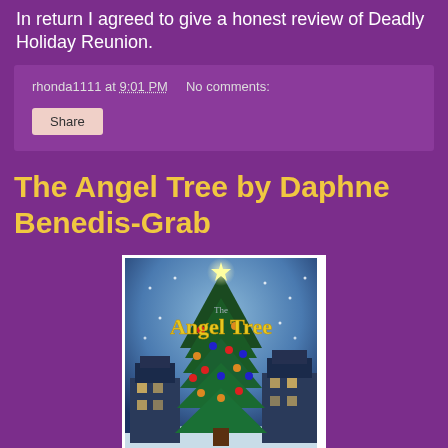In return I agreed to give a honest review of Deadly Holiday Reunion.
rhonda1111 at 9:01 PM   No comments:
Share
The Angel Tree by Daphne Benedis-Grab
[Figure (photo): Book cover of 'The Angel Tree' showing a decorated Christmas tree with a star on top, snowy village scene in background, with yellow decorative title text 'The Angel Tree']